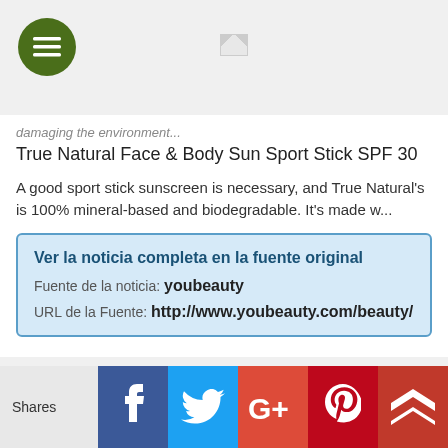[Figure (screenshot): Mobile app header with dark green hamburger menu button (circle) on left and a broken image icon in the center-top area]
damaging the environment...
True Natural Face & Body Sun Sport Stick SPF 30
A good sport stick sunscreen is necessary, and True Natural's is 100% mineral-based and biodegradable. It's made w...
Ver la noticia completa en la fuente original
Fuente de la noticia: youbeauty
URL de la Fuente: http://www.youbeauty.com/beauty/
Shares